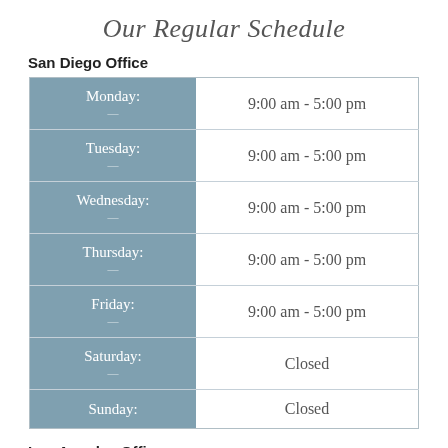Our Regular Schedule
San Diego Office
| Day | Hours |
| --- | --- |
| Monday: | 9:00 am - 5:00 pm |
| Tuesday: | 9:00 am - 5:00 pm |
| Wednesday: | 9:00 am - 5:00 pm |
| Thursday: | 9:00 am - 5:00 pm |
| Friday: | 9:00 am - 5:00 pm |
| Saturday: | Closed |
| Sunday: | Closed |
Los Angeles Office
| Day | Hours |
| --- | --- |
| Monday: | 9:00 am - 5:00 pm |